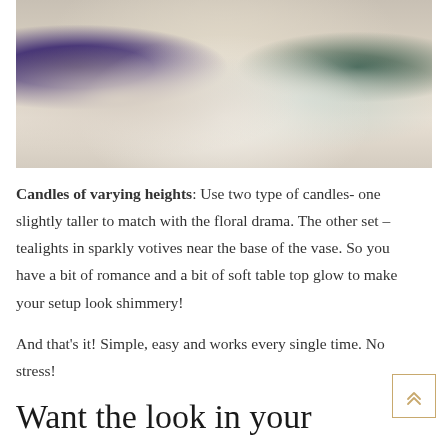[Figure (photo): A festive table setting with glassware including a purple glass, clear ribbed glass vases/candleholders, a teal blue napkin, white plates stacked, a clear ribbed candle holder on the plates, and a green glass on the right side, with lit candles glowing in the background creating a warm, romantic ambiance.]
Candles of varying heights: Use two type of candles- one slightly taller to match with the floral drama. The other set – tealights in sparkly votives near the base of the vase. So you have a bit of romance and a bit of soft table top glow to make your setup look shimmery!
And that's it! Simple, easy and works every single time. No stress!
Want the look in your